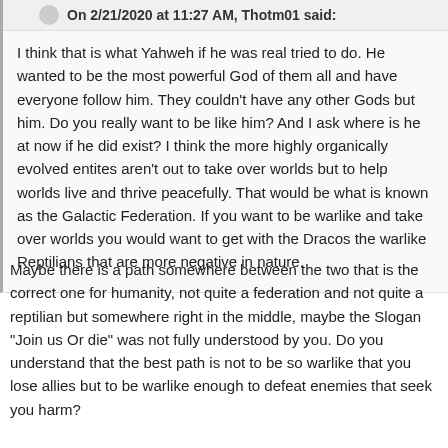On 2/21/2020 at 11:27 AM, Thotm01 said:
I think that is what Yahweh if he was real tried to do. He wanted to be the most powerful God of them all and have everyone follow him. They couldn't have any other Gods but him. Do you really want to be like him? And I ask where is he at now if he did exist? I think the more highly organically evolved entites aren't out to take over worlds but to help worlds live and thrive peacefully. That would be what is known as the Galactic Federation. If you want to be warlike and take over worlds you would want to get with the Dracos the warlike Reptilians that are more negative in nature.
Maybe there is a path somewhere between the two that is the correct one for humanity, not quite a federation and not quite a reptilian but somewhere right in the middle, maybe the Slogan "Join us Or die" was not fully understood by you. Do you understand that the best path is not to be so warlike that you lose allies but to be warlike enough to defeat enemies that seek you harm?